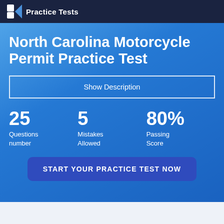Practice Tests
North Carolina Motorcycle Permit Practice Test
Show Description
25
Questions number
5
Mistakes Allowed
80%
Passing Score
START YOUR PRACTICE TEST NOW